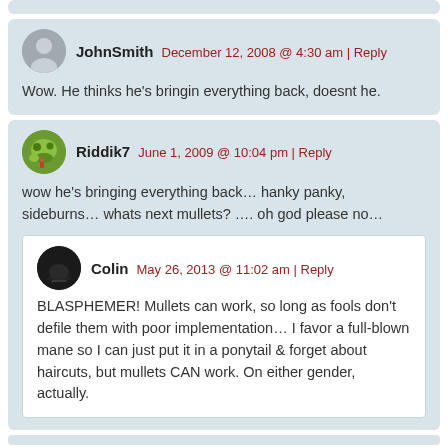JohnSmith  December 12, 2008 @ 4:30 am | Reply
Wow. He thinks he's bringin everything back, doesnt he.
Riddik7  June 1, 2009 @ 10:04 pm | Reply
wow he's bringing everything back... hanky panky, sideburns... whats next mullets? .... oh god please no...
Colin  May 26, 2013 @ 11:02 am | Reply
BLASPHEMER! Mullets can work, so long as fools don't defile them with poor implementation... I favor a full-blown mane so I can just put it in a ponytail & forget about haircuts, but mullets CAN work. On either gender, actually.